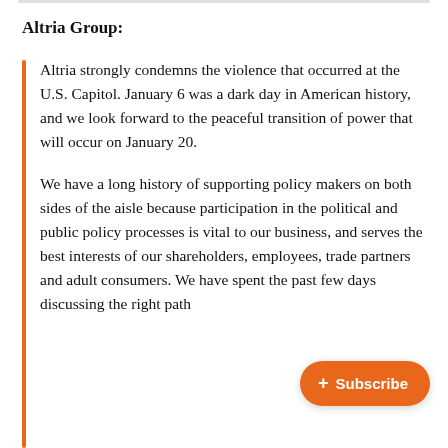Altria Group:
Altria strongly condemns the violence that occurred at the U.S. Capitol. January 6 was a dark day in American history, and we look forward to the peaceful transition of power that will occur on January 20.
We have a long history of supporting policy makers on both sides of the aisle because participation in the political and public policy processes is vital to our business, and serves the best interests of our shareholders, employees, trade partners and adult consumers. We have spent the past few days discussing the right path